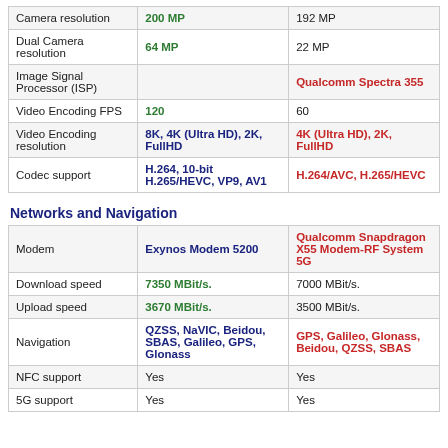|  | Col1 | Col2 |
| --- | --- | --- |
| Camera resolution | 200 MP | 192 MP |
| Dual Camera resolution | 64 MP | 22 MP |
| Image Signal Processor (ISP) |  | Qualcomm Spectra 355 |
| Video Encoding FPS | 120 | 60 |
| Video Encoding resolution | 8K, 4K (Ultra HD), 2K, FullHD | 4K (Ultra HD), 2K, FullHD |
| Codec support | H.264, 10-bit H.265/HEVC, VP9, AV1 | H.264/AVC, H.265/HEVC |
Networks and Navigation
|  | Col1 | Col2 |
| --- | --- | --- |
| Modem | Exynos Modem 5200 | Qualcomm Snapdragon X55 Modem-RF System 5G |
| Download speed | 7350 MBit/s. | 7000 MBit/s. |
| Upload speed | 3670 MBit/s. | 3500 MBit/s. |
| Navigation | QZSS, NaVIC, Beidou, SBAS, Galileo, GPS, Glonass | GPS, Galileo, Glonass, Beidou, QZSS, SBAS |
| NFC support | Yes | Yes |
| 5G support | Yes | Yes |